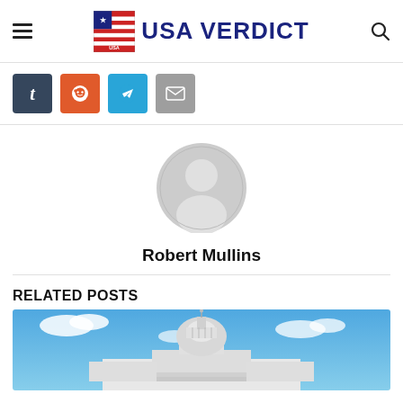USA VERDICT
[Figure (logo): USA Verdict website logo with American flag icon and bold dark blue text reading USA VERDICT]
[Figure (infographic): Social share buttons row: Tumblr (dark blue-gray), Reddit (orange), Telegram (light blue), Email (gray)]
[Figure (photo): Default user avatar - gray silhouette of a person in a circle]
Robert Mullins
RELATED POSTS
[Figure (photo): US Capitol building dome against a bright blue sky with white clouds]